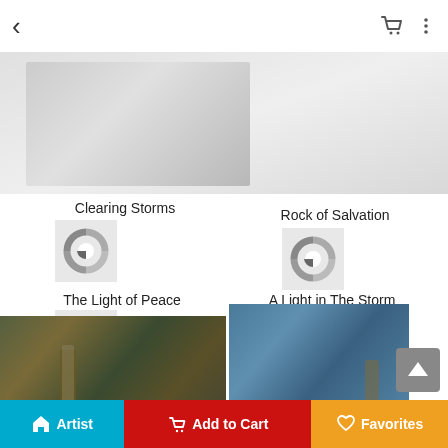[Figure (screenshot): Mobile app screen showing an art gallery/shop with painting thumbnails and navigation]
Clearing Storms
Rock of Salvation
The Light of Peace
A Light in The Storm
Beacon of Hope
Block Island
Artist
Add to Cart
Favorites